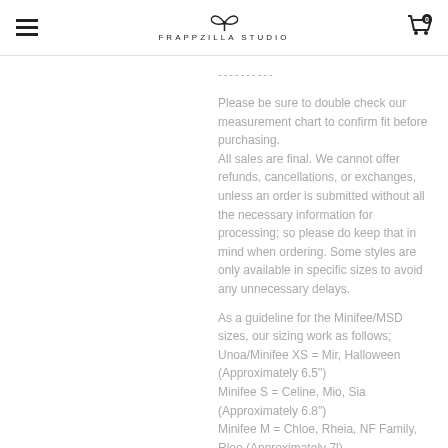FRAPPZILLA STUDIO
----------
Please be sure to double check our measurement chart to confirm fit before purchasing.
All sales are final. We cannot offer refunds, cancellations, or exchanges, unless an order is submitted without all the necessary information for processing; so please do keep that in mind when ordering. Some styles are only available in specific sizes to avoid any unnecessary delays.
As a guideline for the Minifee/MSD sizes, our sizing work as follows;
Unoa/Minifee XS = Mir, Halloween (Approximately 6.5")
Minifee S = Celine, Mio, Sia (Approximately 6.8")
Minifee M = Chloe, Rheia, NF Family, Rloo (Approximately 7l)